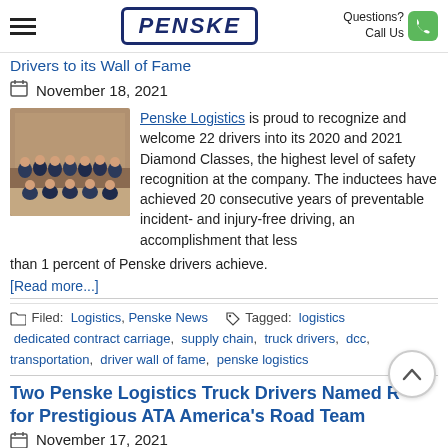Penske | Questions? Call Us
Drivers to its Wall of Fame
November 18, 2021
[Figure (photo): Group photo of Penske logistics drivers in formal attire standing and seated in rows]
Penske Logistics is proud to recognize and welcome 22 drivers into its 2020 and 2021 Diamond Classes, the highest level of safety recognition at the company. The inductees have achieved 20 consecutive years of preventable incident- and injury-free driving, an accomplishment that less than 1 percent of Penske drivers achieve.
[Read more...]
Filed: Logistics, Penske News   Tagged: logistics dedicated contract carriage, supply chain, truck drivers, dcc, transportation, driver wall of fame, penske logistics
Two Penske Logistics Truck Drivers Named R for Prestigious ATA America's Road Team
November 17, 2021